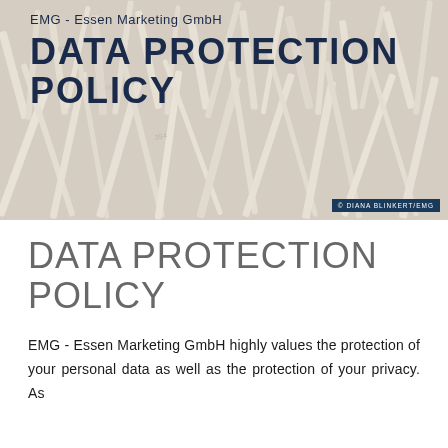[Figure (photo): Background photo of shredded paper strips piled together, in muted beige/white tones, used as decorative header image for a data protection policy document.]
EMG - Essen Marketing GmbH
DATA PROTECTION POLICY
© DIANA BLINKERT/EMG
DATA PROTECTION POLICY
EMG - Essen Marketing GmbH highly values the protection of your personal data as well as the protection of your privacy. As